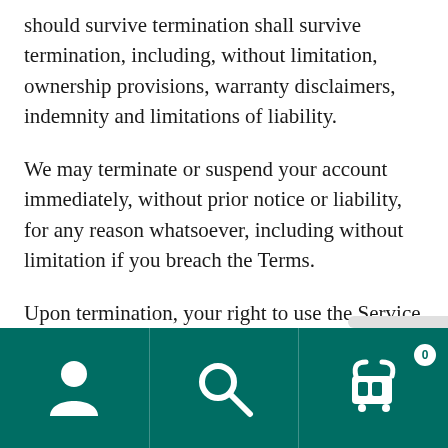should survive termination shall survive termination, including, without limitation, ownership provisions, warranty disclaimers, indemnity and limitations of liability.
We may terminate or suspend your account immediately, without prior notice or liability, for any reason whatsoever, including without limitation if you breach the Terms.
Upon termination, your right to use the Service will immediately cease. If you wish to terminate your account, you may simply discontinue using the Service.
[Figure (infographic): Mobile app bottom navigation bar with dark teal background containing three icons: user/profile icon, search/magnifying glass icon, and shopping cart icon with a 0 badge.]